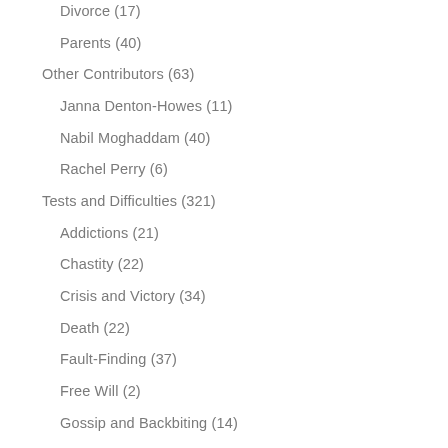Divorce (17)
Parents (40)
Other Contributors (63)
Janna Denton-Howes (11)
Nabil Moghaddam (40)
Rachel Perry (6)
Tests and Difficulties (321)
Addictions (21)
Chastity (22)
Crisis and Victory (34)
Death (22)
Fault-Finding (37)
Free Will (2)
Gossip and Backbiting (14)
Lower Nature (22)